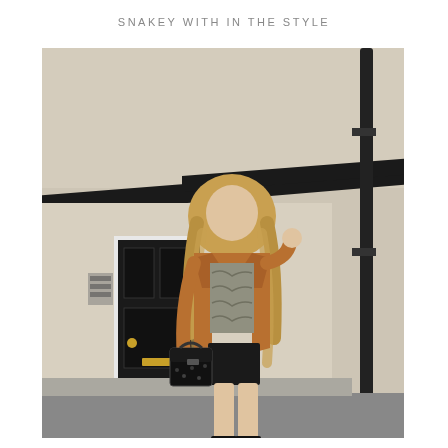SNAKEY WITH IN THE STYLE
[Figure (photo): A woman with long blonde hair wearing a camel blazer over a snake-print top, a black mini skirt, black ankle boots, and holding a small black handbag. She stands in front of a white-rendered building with a black door and black timber beam detail, next to a black drainpipe.]